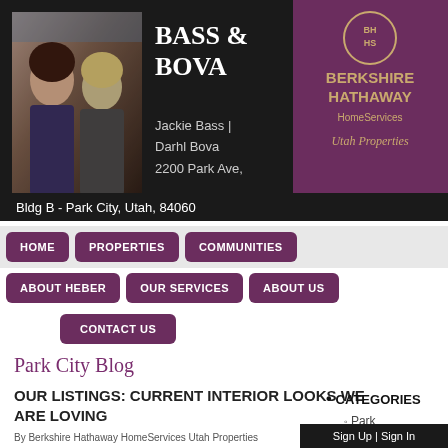[Figure (photo): Photo of two female real estate agents smiling, used as profile image for Bass & Bova]
BASS & BOVA
Jackie Bass | Darhl Bova
2200 Park Ave,
[Figure (logo): Berkshire Hathaway HomeServices Utah Properties logo with circular BH HS emblem on purple background]
Bldg B - Park City, Utah, 84060
HOME
PROPERTIES
COMMUNITIES
ABOUT HEBER
OUR SERVICES
ABOUT US
CONTACT US
Park City Blog
OUR LISTINGS: CURRENT INTERIOR LOOKS WE ARE LOVING
By Berkshire Hathaway HomeServices Utah Properties
Here are some interior looks we are loving from our luxury listings. Reach-out to your BHHS Utah
CATEGORIES
Park City Real Estate
Sign Up | Sign In